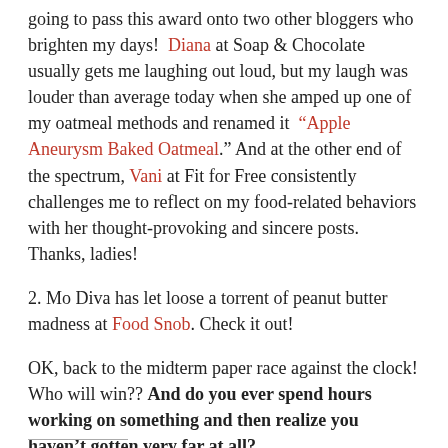going to pass this award onto two other bloggers who brighten my days! Diana at Soap & Chocolate usually gets me laughing out loud, but my laugh was louder than average today when she amped up one of my oatmeal methods and renamed it “Apple Aneurysm Baked Oatmeal.” And at the other end of the spectrum, Vani at Fit for Free consistently challenges me to reflect on my food-related behaviors with her thought-provoking and sincere posts. Thanks, ladies!
2. Mo Diva has let loose a torrent of peanut butter madness at Food Snob. Check it out!
OK, back to the midterm paper race against the clock! Who will win?? And do you ever spend hours working on something and then realize you haven’t gotten very far at all?